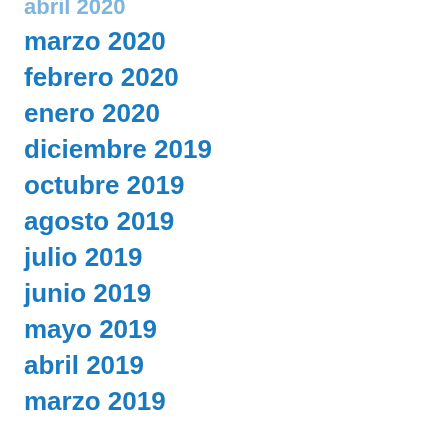abril 2020
marzo 2020
febrero 2020
enero 2020
diciembre 2019
octubre 2019
agosto 2019
julio 2019
junio 2019
mayo 2019
abril 2019
marzo 2019